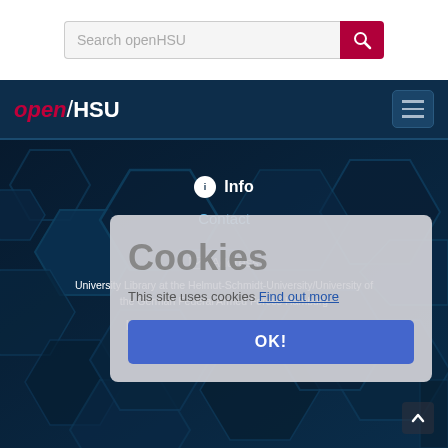[Figure (screenshot): Search bar with 'Search openHSU' placeholder text and a dark red search button with magnifying glass icon]
[Figure (logo): openHSU logo in italic with red 'open' and white 'HSU' text on dark navy background, with hamburger menu icon on right]
[Figure (screenshot): Hero section with hexagonal dark blue background showing Info button, Contact link, Address section with envelope icon, university library text, Hamburg address, and Link button. Overlaid with cookie consent dialog showing 'Cookies' title, 'This site uses cookies Find out more' text, and 'OK!' button.]
Search openHSU
Info
Contact
Address
University Library at the Helmut-Schmidt-University/University of the German Federal Armed Forces Hamburg
| Holstenhofweg 85 | 22043 Hamburg |
Link
Cookies
This site uses cookies Find out more
OK!